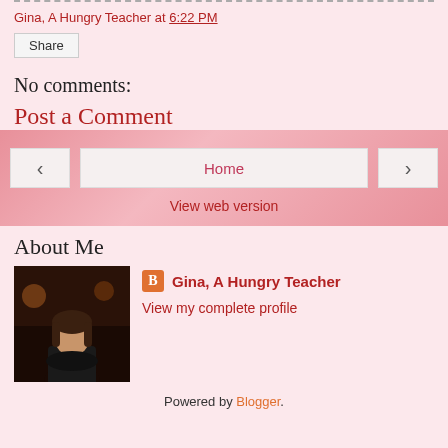Gina, A Hungry Teacher at 6:22 PM
Share
No comments:
Post a Comment
< Home >
View web version
About Me
Gina, A Hungry Teacher
View my complete profile
Powered by Blogger.